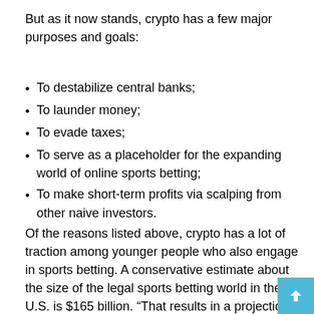But as it now stands, crypto has a few major purposes and goals:
To destabilize central banks;
To launder money;
To evade taxes;
To serve as a placeholder for the expanding world of online sports betting;
To make short-term profits via scalping from other naive investors.
Of the reasons listed above, crypto has a lot of traction among younger people who also engage in sports betting. A conservative estimate about the size of the legal sports betting world in the U.S. is $165 billion. “That results in a projection of a staggering $44 billion in gambling revenue for 2021, Forbes reported.Nov 11, 2021. Crypto and sports betting are related